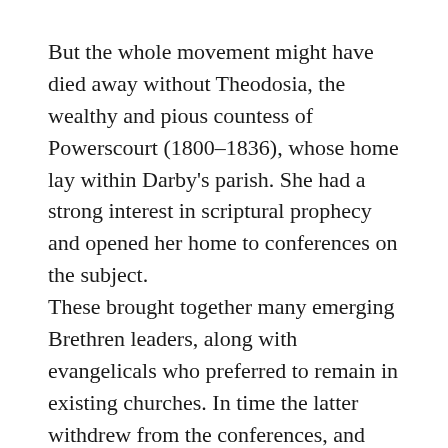But the whole movement might have died away without Theodosia, the wealthy and pious countess of Powerscourt (1800–1836), whose home lay within Darby's parish. She had a strong interest in scriptural prophecy and opened her home to conferences on the subject.
These brought together many emerging Brethren leaders, along with evangelicals who preferred to remain in existing churches. In time the latter withdrew from the conferences, and those who remained developed a common mind. Their interpretation of Scripture developed into